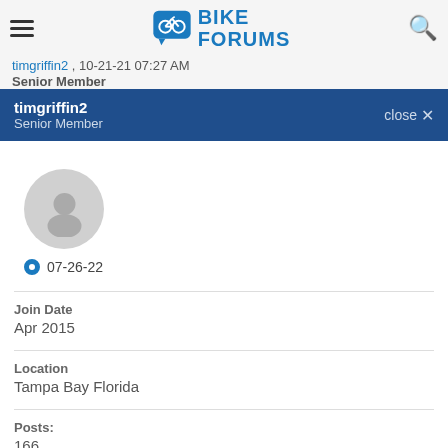Bike Forums
timgriffin2 , 10-21-21 07:27 AM
Senior Member
timgriffin2
Senior Member
close ×
[Figure (illustration): Default user avatar — grey circle with person silhouette]
07-26-22
Join Date
Apr 2015
Location
Tampa Bay Florida
Posts:
166